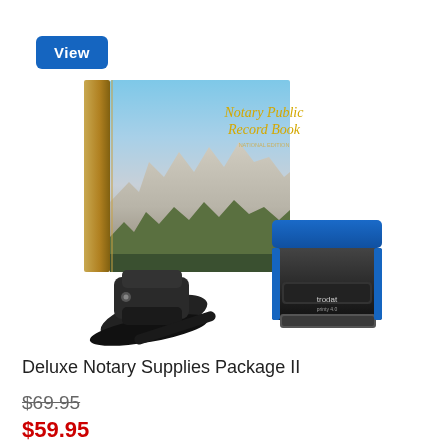[Figure (photo): Blue 'View' button in top left corner]
[Figure (photo): Product image showing a Notary Public Record Book (with Mount Rushmore on cover), a black notary seal embosser, and a Trodat self-inking stamp with blue casing]
Deluxe Notary Supplies Package II
$69.95 (strikethrough original price)
$59.95 (sale price in red)